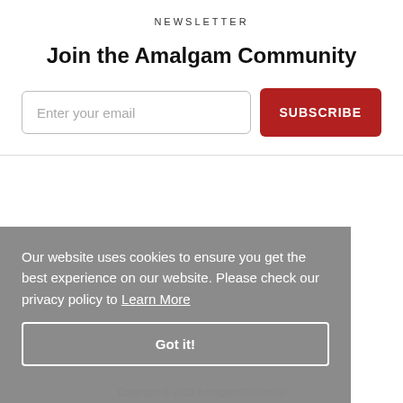NEWSLETTER
Join the Amalgam Community
[Figure (screenshot): Email subscription form with text input labeled 'Enter your email' and a red 'SUBSCRIBE' button]
Our website uses cookies to ensure you get the best experience on our website. Please check our privacy policy to Learn More
Got it!
Copyright © 2022 Amalgam Collection